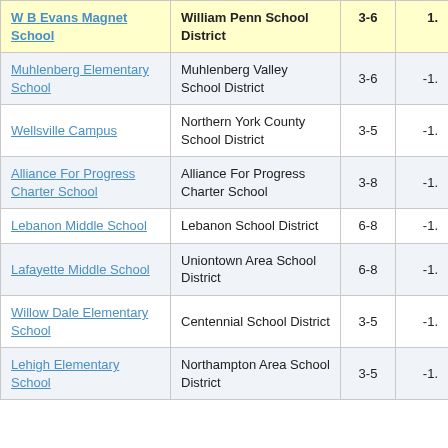| School | District | Grades | Value |
| --- | --- | --- | --- |
| W B Evans Magnet School | William Penn School District | 3-6 | 1. |
| Muhlenberg Elementary School | Muhlenberg Valley School District | 3-6 | -1. |
| Wellsville Campus | Northern York County School District | 3-5 | -1. |
| Alliance For Progress Charter School | Alliance For Progress Charter School | 3-8 | -1. |
| Lebanon Middle School | Lebanon School District | 6-8 | -1. |
| Lafayette Middle School | Uniontown Area School District | 6-8 | -1. |
| Willow Dale Elementary School | Centennial School District | 3-5 | -1. |
| Lehigh Elementary School | Northampton Area School District | 3-5 | -1. |